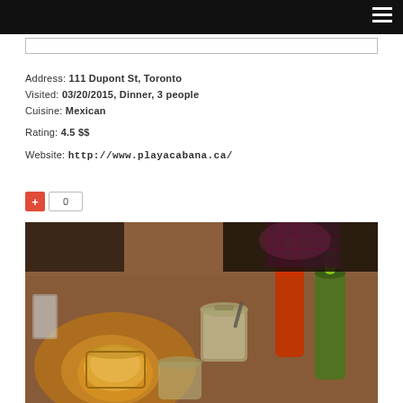Address: 111 Dupont St, Toronto
Visited: 03/20/2015, Dinner, 3 people
Cuisine: Mexican
Rating: 4.5 $$
Website: http://www.playacabana.ca/
[Figure (photo): Restaurant table photo showing condiment bottles (red hot sauce, green sauce), mason jars, small glasses, and a candle on a wooden table. A person in a plaid shirt visible in the background.]